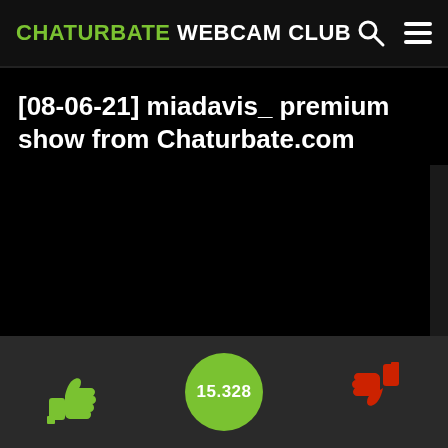CHATURBATE WEBCAM CLUB
[08-06-21] miadavis_ premium show from Chaturbate.com
[Figure (screenshot): Dark black video area, mostly black with a dark gray strip on the right edge]
15.328